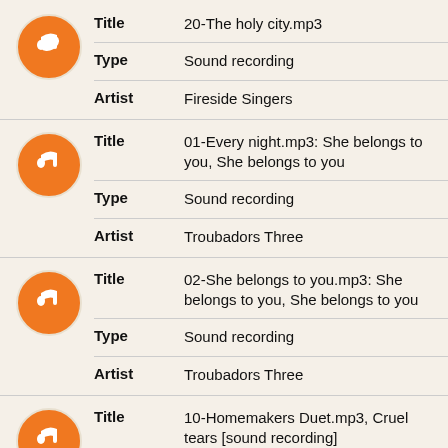| Field | Value |
| --- | --- |
| Title | 20-The holy city.mp3 |
| Type | Sound recording |
| Artist | Fireside Singers |
| Field | Value |
| --- | --- |
| Title | 01-Every night.mp3: She belongs to you, She belongs to you |
| Type | Sound recording |
| Artist | Troubadors Three |
| Field | Value |
| --- | --- |
| Title | 02-She belongs to you.mp3: She belongs to you, She belongs to you |
| Type | Sound recording |
| Artist | Troubadors Three |
| Field | Value |
| --- | --- |
| Title | 10-Homemakers Duet.mp3, Cruel tears [sound recording] |